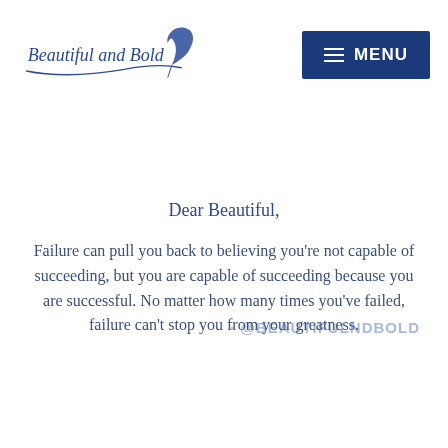Beautiful and Bold — MENU
Dear Beautiful,
Failure can pull you back to believing you're not capable of succeeding, but you are capable of succeeding because you are successful. No matter how many times you've failed, failure can't stop you from your greatness.
@BEAUTIFULNDBOLD